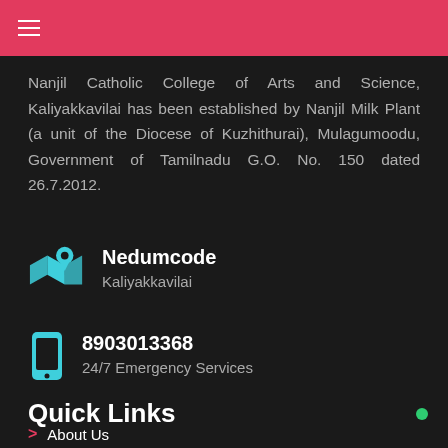≡
Nanjil Catholic College of Arts and Science, Kaliyakkavilai has been established by Nanjil Milk Plant (a unit of the Diocese of Kuzhithurai), Mulagumoodu, Government of Tamilnadu G.O. No. 150 dated 26.7.2012.
Nedumcode
Kaliyakkavilai
8903013368
24/7 Emergency Services
Quick Links
About Us